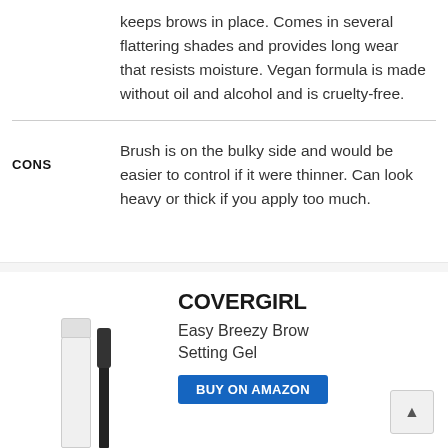keeps brows in place. Comes in several flattering shades and provides long wear that resists moisture. Vegan formula is made without oil and alcohol and is cruelty-free.
CONS
Brush is on the bulky side and would be easier to control if it were thinner. Can look heavy or thick if you apply too much.
[Figure (photo): Product image of COVERGIRL Easy Breezy Brow Setting Gel — white tube and black mascara wand applicator]
COVERGIRL
Easy Breezy Brow Setting Gel